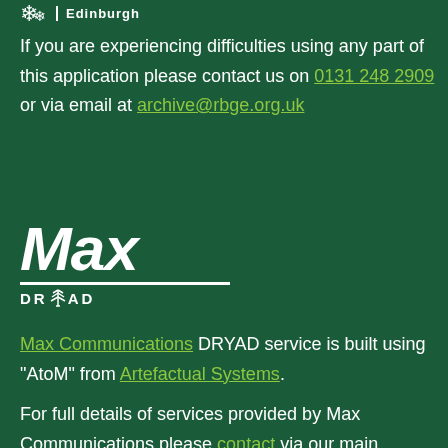Edinburgh
If you are experiencing difficulties using any part of this application please contact us on 0131 248 2909 or via email at archive@rbge.org.uk
[Figure (logo): Max DRYAD logo - white text on dark green background, 'Max' in large italic bold font with 'DRYAD' below in smaller bold caps with a tree icon, underlined]
Max Communications DRYAD service is built using "AtoM" from Artefactual Systems.
For full details of services provided by Max Communications please contact via our main websites or use the details in